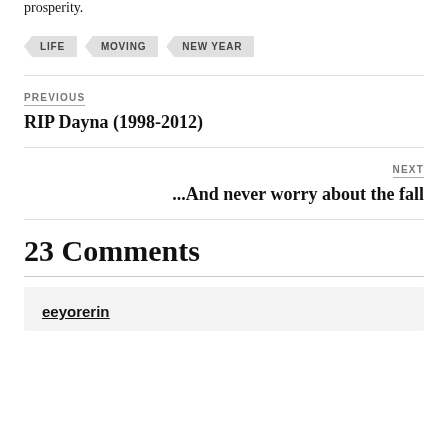prosperity.
LIFE
MOVING
NEW YEAR
PREVIOUS
RIP Dayna (1998-2012)
NEXT
...And never worry about the fall
23 Comments
eeyorerin